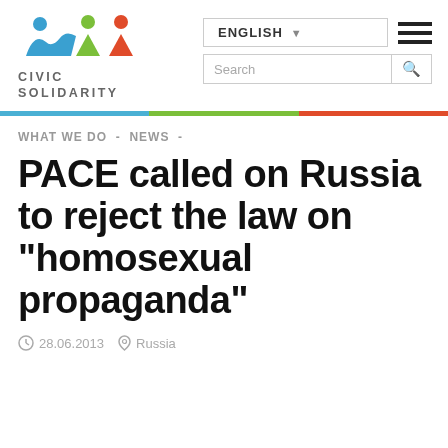[Figure (logo): Civic Solidarity logo with colorful human figures and text CIVIC SOLIDARITY]
ENGLISH  [dropdown]  [hamburger menu]  Search [search icon]
WHAT WE DO  -  NEWS  -
PACE called on Russia to reject the law on "homosexual propaganda"
28.06.2013   Russia